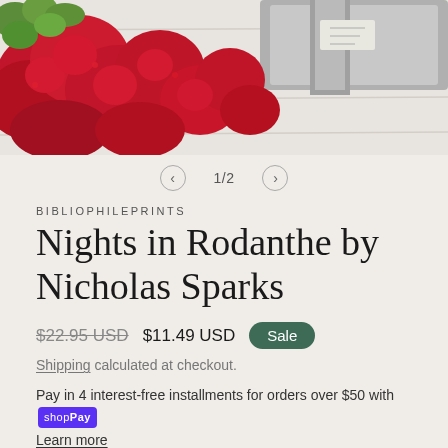[Figure (photo): Product photo showing red flowers/carnations with green foliage and a gray metallic surface on white wood, partially cropped]
1/2
BIBLIOPHILEPRINTS
Nights in Rodanthe by Nicholas Sparks
$22.95 USD  $11.49 USD  Sale
Shipping calculated at checkout.
Pay in 4 interest-free installments for orders over $50 with shop Pay
Learn more
Quantity